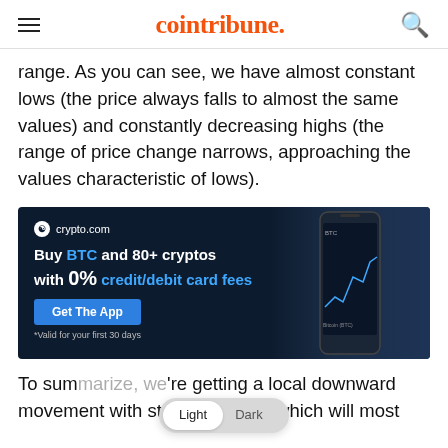cointribune.
range. As you can see, we have almost constant lows (the price always falls to almost the same values) and constantly decreasing highs (the range of price change narrows, approaching the values characteristic of lows).
[Figure (photo): crypto.com advertisement banner with dark blue background. Text reads: 'Buy BTC and 80+ cryptos with 0% credit/debit card fees'. Blue 'Get The App' button. '*Valid for your first 30 days' fine print. Phone showing crypto chart on right side.]
To summarize, we're getting a local downward movement with strong support, which will most